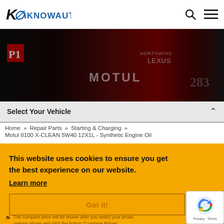iKNOWAUTO — navigation header with logo, search icon, and menu icon
[Figure (photo): Dark motorsport hero image showing a racing car with red livery and MOTUL branding, number P1 visible]
Select Your Vehicle
Home » Repair Parts » Starting & Charging » Motul 8100 X-CLEAN 5W40 12X1L - Synthetic Engine Oil
Motul 8100 X-CLEAN 5W40 12X1L - Synthetic Engine Oil
Engine Oil
SKU # 102786
This website uses cookies to ensure you get the best experience on our website.
Learn more
Got it!
The compare price will be shown after you select your product options above and click the button "Compare Prices"